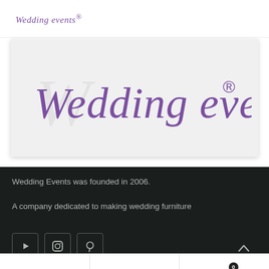Wedding events®
[Figure (logo): Large 'Wedding events®' logo in cursive purple/violet text on white background]
Wedding Events was founded in 2006.
A company dedicated to making wedding furniture
[Figure (other): Social media icons: YouTube, Instagram, Pinterest in square bordered boxes]
Bottom navigation bar with home, user, and cart (0) icons